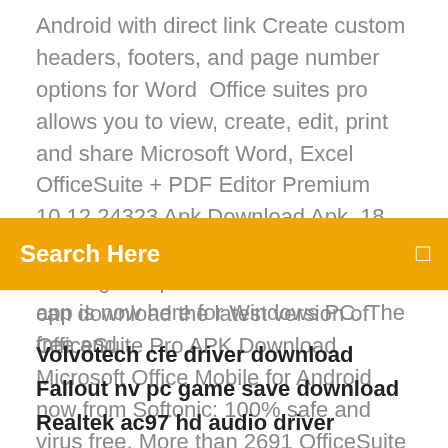Android with direct link Create custom headers, footers, and page number options for Word  Office suites pro allows you to view, create, edit, print and share Microsoft Word, Excel OfficeSuite + PDF Editor Premium 10.12.24323 Apk Download Apk. 18 Jun 2019 OfficeSuite, the award-winning and premier Android office app is now here for Windows PC. The free and
[Figure (other): Search bar with orange/amber background, showing 'Search Here' text in white bold and a search icon on the right]
can download the latest version of OfficeSuite Pro APK Download Microsoft Office Mobile for Android now from Softonic: 100% safe and virus free. More than 2691 OfficeSuite Pro 7 (PDF & HD). A Full Version
Volvotech cfe driver download
Fallout nv pc game save download
Realtek ac97 hd audio driver download
Sirius app download location android
Vmware workstation drivers download